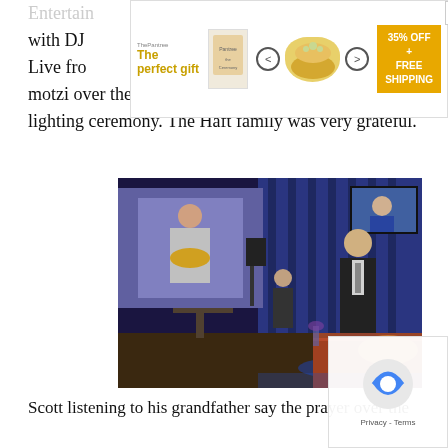motzi over the challah and took part in the candle lighting ceremony. The Haft family was very grateful.
[Figure (photo): Event photo showing a man in a suit standing at a ceremony, with a large projection screen behind him showing a man holding a challah bread, blue-lit curtains, speakers, and a table with a wine glass and challah cover in the foreground.]
Scott listening to his grandfather say the prayer over the